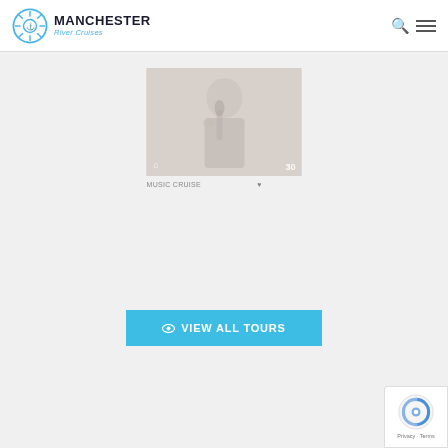Manchester River Cruises
[Figure (photo): Faded/washed-out photo of a man singing into a vintage microphone, wearing a suit. Music note icon bottom-left, number 30 bottom-right.]
MUSIC CRUISE (partially visible text below image)
VIEW ALL TOURS button with eye icon
[Figure (logo): Google reCAPTCHA badge showing the reCAPTCHA logo with blue/grey swirl, and 'Privacy - Terms' text below.]